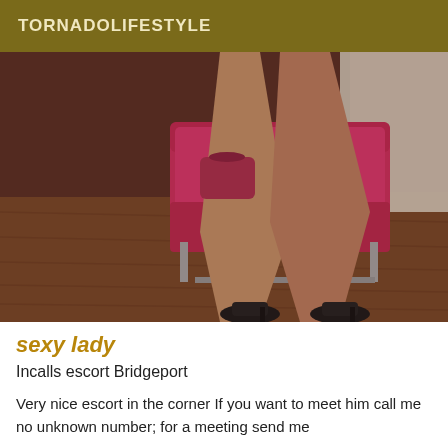TORNADOLIFESTYLE
[Figure (photo): Photo showing legs of a person in high heels next to a bright pink/red armchair on a wooden floor, with white curtains in the background.]
sexy lady
Incalls escort Bridgeport
Very nice escort in the corner If you want to meet him call me no unknown number; for a meeting send me